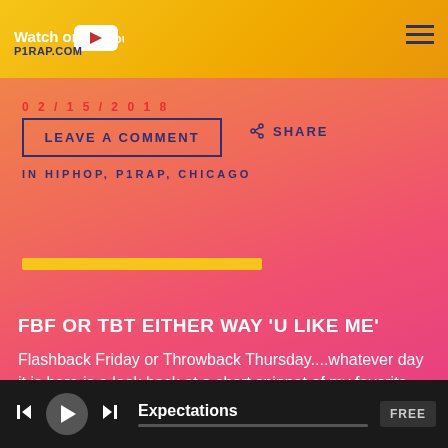Watch on YouTube — P1RAP.COM
02/15/2018
LEAVE A COMMENT
SHARE
IN HIPHOP, P1RAP, CHICAGO
FBF OR TBT EITHER WAY 'U LIKE ME'
Flashback Friday or Throwback Thursday....whatever day it is here is a look back at a short snippet of my favorite
Expectations — FREE